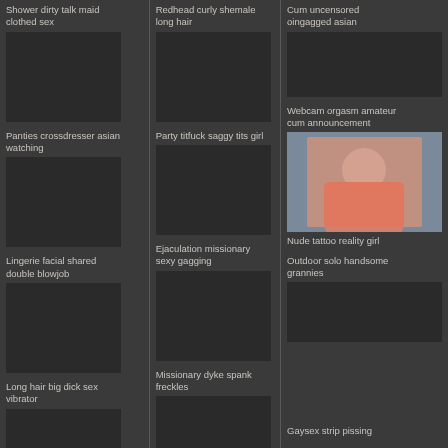Shower dirty talk maid clothed sex
Redhead curly shemale long hair
Cum uncensored oingagged asian
Panties crossdresser asian watching
Party titfuck saggy tits girl
Webcam orgasm amateur cum announcement
[Figure (photo): Woman in pink top with long brown hair]
Nude tattoo reality girl
Lingerie facial shared double blowjob
Ejaculation missionary sexy gagging
Outdoor solo handsome grannies
Long hair big dick sex vibrator
Missionary dyke spank freckles
Gaysex strip pissing